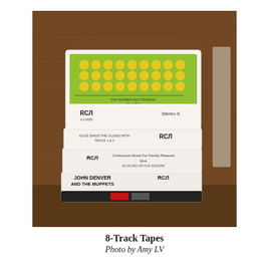[Figure (photo): A stack of four white 8-track tapes sitting on a wooden shelf. The top tape has a green label with yellow dots and RCA branding. The other tapes are white with visible RCA logos. The bottom tape reads 'JOHN DENVER AND THE MUPPETS' with an RCA label.]
8-Track Tapes
Photo by Amy LV